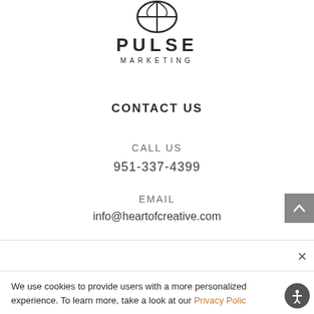[Figure (logo): Pulse Marketing logo with circular globe/pin icon above PULSE MARKETING text]
CONTACT US
CALL US
951-337-4399
EMAIL
info@heartofcreative.com
We use cookies to provide users with a more personalized experience. To learn more, take a look at our Privacy Polic…